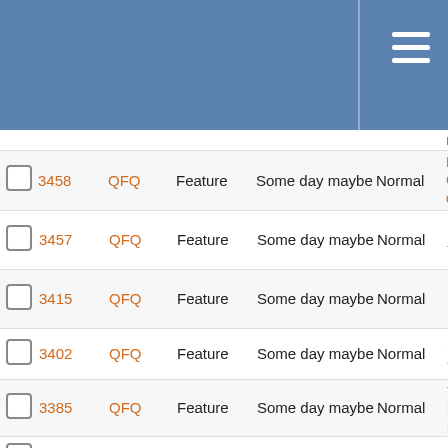Issue tracker header with menu
|  | # | Project | Tracker | Target version | Priority | Subject |
| --- | --- | --- | --- | --- | --- | --- |
|  | 3458 | QFQ | Feature | Some day maybe | Normal | Di Cl de... |
|  | 3457 | QFQ | Feature | Some day maybe | Normal | LD to... |
|  | 3415 | QFQ | Feature | Some day maybe | Normal | FE... |
|  | 3402 | QFQ | Feature | Some day maybe | Normal | Sy Co... |
|  | 3385 | QFQ | Feature | Some day maybe | Normal | te ins pr... |
|  | 3350 | QFQ | Feature | Some day maybe | Normal | Fo 'cl cc ke... |
|  | 3349 | QFQ | Bug | Some day maybe | Normal | Pa in (s... |
|  | 3332 | QFQ | Feature | Some day maybe | Normal | Ut De Ti... |